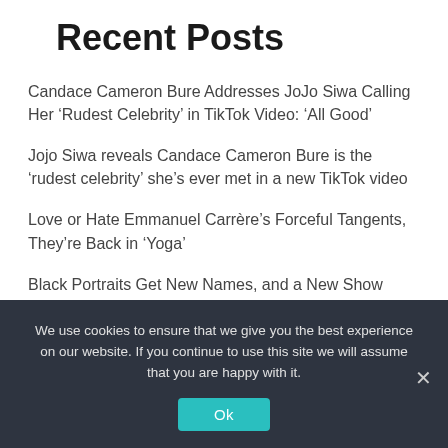Recent Posts
Candace Cameron Bure Addresses JoJo Siwa Calling Her ‘Rudest Celebrity’ in TikTok Video: ‘All Good’
Jojo Siwa reveals Candace Cameron Bure is the ‘rudest celebrity’ she’s ever met in a new TikTok video
Love or Hate Emmanuel Carrère’s Forceful Tangents, They’re Back in ‘Yoga’
Black Portraits Get New Names, and a New Show
New Self-Help Books – The New York Times
We use cookies to ensure that we give you the best experience on our website. If you continue to use this site we will assume that you are happy with it.